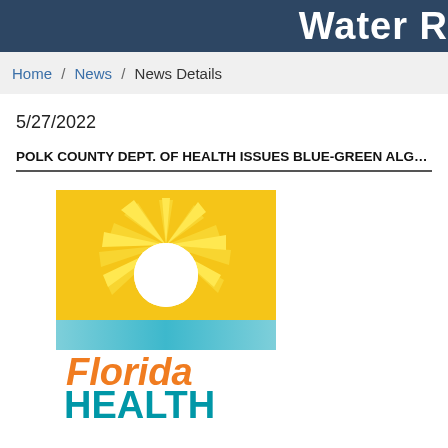Water R...
Home / News / News Details
5/27/2022
POLK COUNTY DEPT. OF HEALTH ISSUES BLUE-GREEN ALGAE B...
[Figure (logo): Florida Health logo with sun rays graphic above orange 'Florida' text and teal 'HEALTH' text on gradient background]